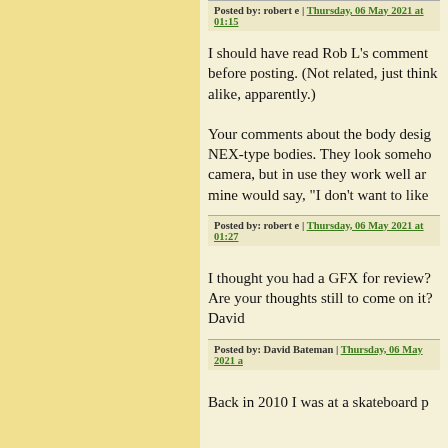Posted by: robert e | Thursday, 06 May 2021 at 01:15
I should have read Rob L's comment before posting. (Not related, just think alike, apparently.)
Your comments about the body design remind me of Sony NEX-type bodies. They look somehow wrong as a camera, but in use they work well and... as a friend of mine would say, "I don't want to like
Posted by: robert e | Thursday, 06 May 2021 at 01:27
I thought you had a GFX for review? Are your thoughts still to come on it? David
Posted by: David Bateman | Thursday, 06 May 2021 a
Back in 2010 I was at a skateboard p